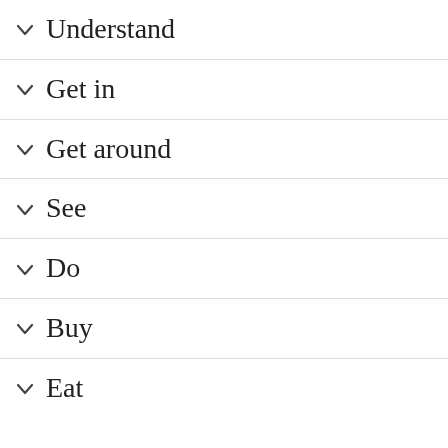Understand
Get in
Get around
See
Do
Buy
Eat